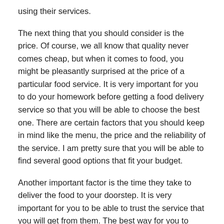using their services.
The next thing that you should consider is the price. Of course, we all know that quality never comes cheap, but when it comes to food, you might be pleasantly surprised at the price of a particular food service. It is very important for you to do your homework before getting a food delivery service so that you will be able to choose the best one. There are certain factors that you should keep in mind like the menu, the price and the reliability of the service. I am pretty sure that you will be able to find several good options that fit your budget.
Another important factor is the time they take to deliver the food to your doorstep. It is very important for you to be able to trust the service that you will get from them. The best way for you to determine this is to check the reviews of other customers who have used the